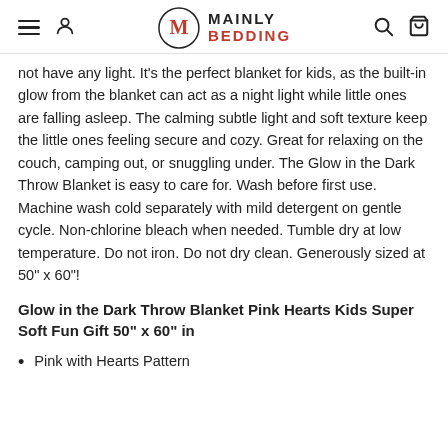MAINLY BEDDING
not have any light. It's the perfect blanket for kids, as the built-in glow from the blanket can act as a night light while little ones are falling asleep. The calming subtle light and soft texture keep the little ones feeling secure and cozy. Great for relaxing on the couch, camping out, or snuggling under. The Glow in the Dark Throw Blanket is easy to care for. Wash before first use. Machine wash cold separately with mild detergent on gentle cycle. Non-chlorine bleach when needed. Tumble dry at low temperature. Do not iron. Do not dry clean. Generously sized at 50" x 60"!
Glow in the Dark Throw Blanket Pink Hearts Kids Super Soft Fun Gift 50" x 60" in
Pink with Hearts Pattern